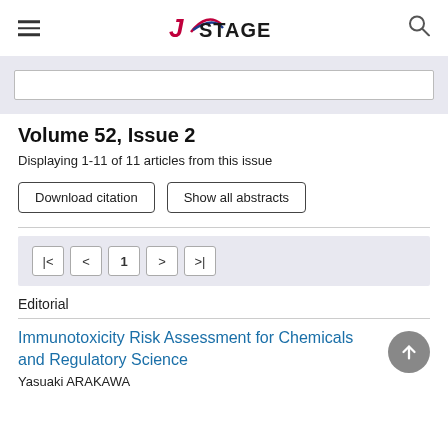J-STAGE
Volume 52, Issue 2
Displaying 1-11 of 11 articles from this issue
Download citation | Show all abstracts
| < 1 > >|
Editorial
Immunotoxicity Risk Assessment for Chemicals and Regulatory Science
Yasuaki ARAKAWA